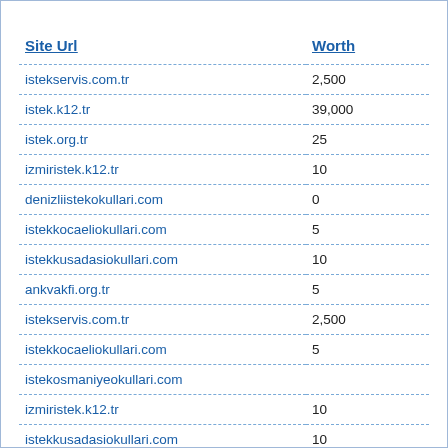| Site Url | Worth |
| --- | --- |
| istekservis.com.tr | 2,500 |
| istek.k12.tr | 39,000 |
| istek.org.tr | 25 |
| izmiristek.k12.tr | 10 |
| denizliistekokullari.com | 0 |
| istekkocaeliokullari.com | 5 |
| istekkusadasiokullari.com | 10 |
| ankvakfi.org.tr | 5 |
| istekservis.com.tr | 2,500 |
| istekkocaeliokullari.com | 5 |
| istekosmaniyeokullari.com |  |
| izmiristek.k12.tr | 10 |
| istekkusadasiokullari.com | 10 |
| istekmersinokullari.com |  |